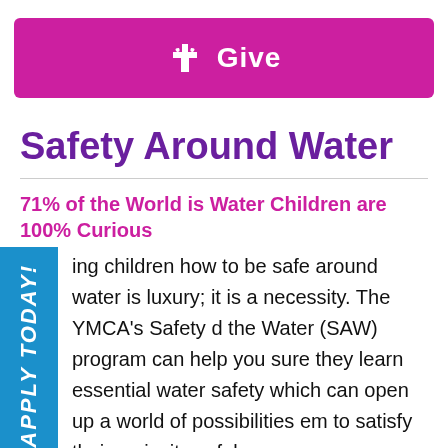Give
Safety Around Water
71% of the World is Water Children are 100% Curious
ing children how to be safe around water is luxury; it is a necessity. The YMCA's Safety d the Water (SAW) program can help you sure they learn essential water safety which can open up a world of possibilities em to satisfy their curiosity safely.